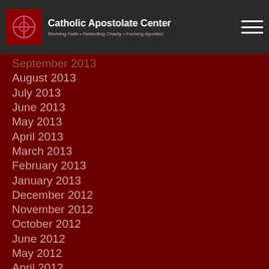Catholic Apostolate Center — Reviving Faith • Rekindling Charity • Forming Apostles
September 2013
August 2013
July 2013
June 2013
May 2013
April 2013
March 2013
February 2013
January 2013
December 2012
November 2012
October 2012
June 2012
May 2012
April 2012
March 2012
February 2012